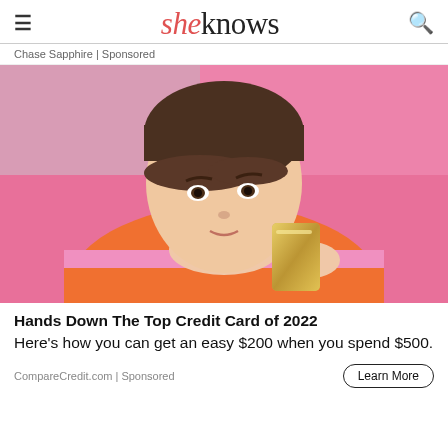sheknows
Chase Sapphire | Sponsored
[Figure (photo): Young woman with dark hair and bangs in orange and pink striped top, holding a gold credit card up near her face against a pink background]
Hands Down The Top Credit Card of 2022
Here's how you can get an easy $200 when you spend $500.
CompareCredit.com | Sponsored